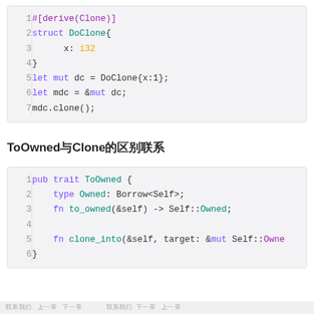[Figure (screenshot): Rust code block showing derive(Clone) on a struct DoClone with field x: i32, then let mut dc = DoClone{x:1}; let mdc = &mut dc; mdc.clone();]
ToOwned与Clone的区别联系
[Figure (screenshot): Rust code block showing pub trait ToOwned with type Owned: Borrow<Self>; fn to_owned(&self) -> Self::Owned; fn clone_into(&self, target: &mut Self::Owne...]
联系我们 上一章 下一章   联系我们 上一章 下一章